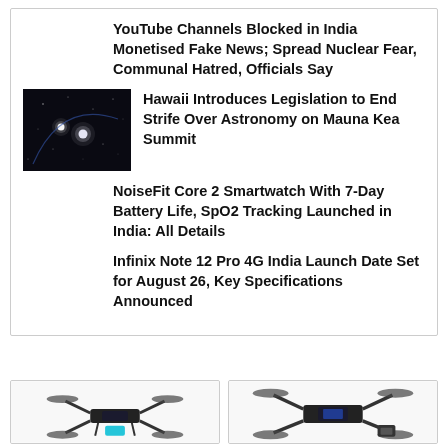YouTube Channels Blocked in India Monetised Fake News; Spread Nuclear Fear, Communal Hatred, Officials Say
[Figure (photo): Dark sky/astronomy image showing bright stars or celestial objects against a black background]
Hawaii Introduces Legislation to End Strife Over Astronomy on Mauna Kea Summit
NoiseFit Core 2 Smartwatch With 7-Day Battery Life, SpO2 Tracking Launched in India: All Details
Infinix Note 12 Pro 4G India Launch Date Set for August 26, Key Specifications Announced
[Figure (photo): Small black drone/quadcopter with propellers]
[Figure (photo): Larger drone/quadcopter with camera and accessories]